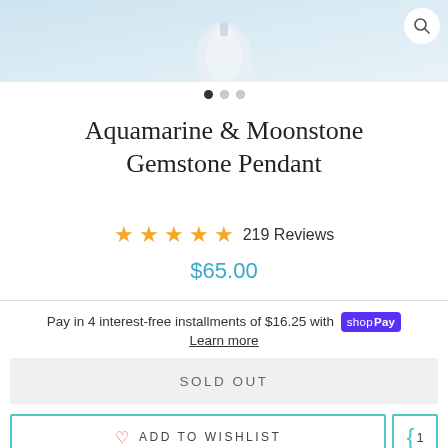[Figure (photo): Product image of Aquamarine and Moonstone Gemstone Pendant on light blue background]
Aquamarine & Moonstone Gemstone Pendant
★★★★★ 219 Reviews
$65.00
Pay in 4 interest-free installments of $16.25 with Shop Pay
Learn more
SOLD OUT
♡ ADD TO WISHLIST